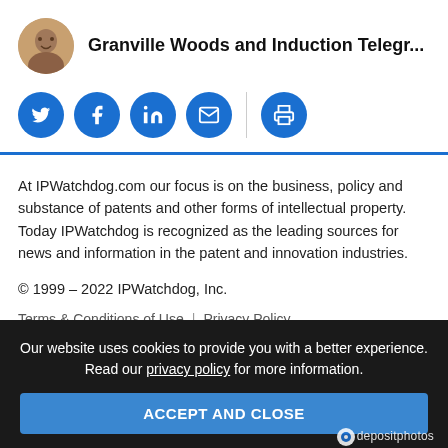Granville Woods and Induction Telegr...
[Figure (other): Social media share buttons: Twitter, Facebook, LinkedIn, Email, Print]
At IPWatchdog.com our focus is on the business, policy and substance of patents and other forms of intellectual property. Today IPWatchdog is recognized as the leading sources for news and information in the patent and innovation industries.
© 1999 – 2022 IPWatchdog, Inc.
Terms & Conditions of Use | Privacy Policy
Our website uses cookies to provide you with a better experience. Read our privacy policy for more information.
ACCEPT AND CLOSE